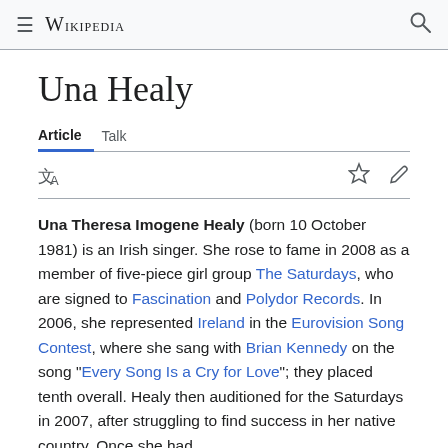≡  WIKIPEDIA  🔍
Una Healy
Article  Talk
Una Theresa Imogene Healy (born 10 October 1981) is an Irish singer. She rose to fame in 2008 as a member of five-piece girl group The Saturdays, who are signed to Fascination and Polydor Records. In 2006, she represented Ireland in the Eurovision Song Contest, where she sang with Brian Kennedy on the song "Every Song Is a Cry for Love"; they placed tenth overall. Healy then auditioned for the Saturdays in 2007, after struggling to find success in her native country. Once she had